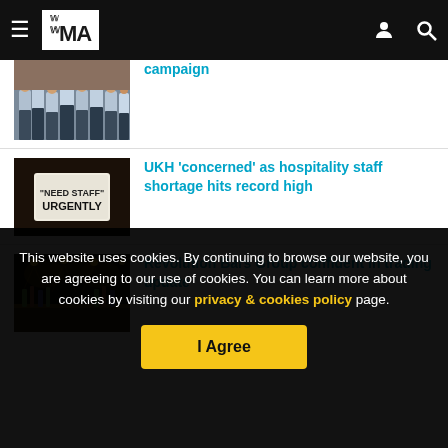THE MA — navigation header with hamburger menu, logo, user icon, search icon
[Figure (screenshot): Partial news article thumbnail showing group of people in uniform/light blue shirts]
campaign
[Figure (photo): Sign reading 'NEED STAFF URGENTLY' on dark background]
UKH 'concerned' as hospitality staff shortage hits record high
[Figure (photo): Interior of Revolution Bars venue with atmospheric lighting]
Revolution Bars Group confident in trading update
This website uses cookies. By continuing to browse our website, you are agreeing to our use of cookies. You can learn more about cookies by visiting our privacy & cookies policy page.